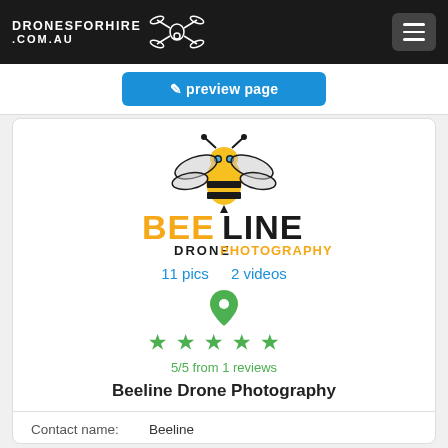DRONESFORHIRE.COM.AU
[Figure (logo): Beeline Drone Photography logo — stylized bee with camera eye above the text BEELINE (BEE in orange/gold, LINE in black) and DRONE PHOTOGRAPHY beneath]
11 pics   2 videos
[Figure (infographic): Green map pin icon above 5 green filled stars]
5/5 from 1 reviews
Beeline Drone Photography
Contact name:   Beeline
Location/s:   SYDNEY NSW 2000